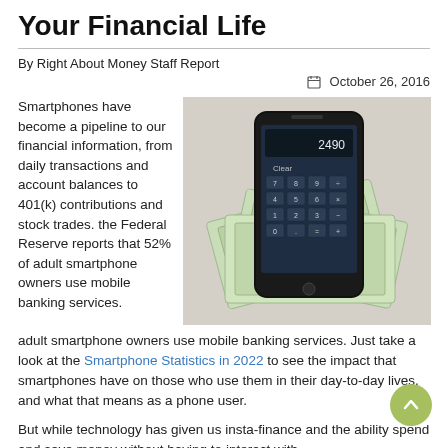Your Financial Life
By Right About Money Staff Report
October 26, 2016
Smartphones have become a pipeline to our financial information, from daily transactions and account balances to 401(k) contributions and stock trades. the Federal Reserve reports that 52% of adult smartphone owners use mobile banking services. Just take a look at the Smartphone Statistics in 2022 to see the impact that smartphones have on those who use them in their day-to-day lives, and what that means as a phone user.
[Figure (photo): A smartphone with a calculator app open resting on top of US dollar bills spread on a table]
But while technology has given us insta-finance and the ability spend and save money without having to interact with